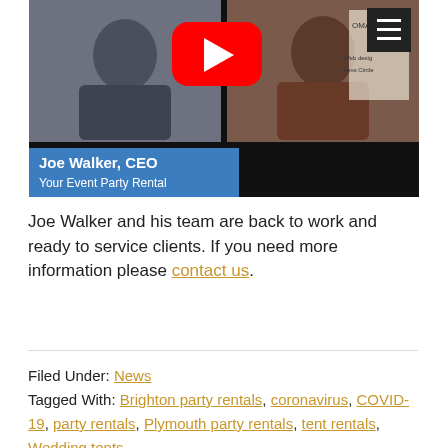[Figure (screenshot): YouTube video thumbnail showing two men in a split-screen video call. A YouTube play button is overlaid in the center. A blue name banner reads 'Joe Walker, CEO / Your Event Party Rental'. A hamburger menu icon appears top right.]
Joe Walker and his team are back to work and ready to service clients. If you need more information please contact us.
Filed Under: News
Tagged With: Brighton party rentals, coronavirus, COVID-19, party rentals, Plymouth party rentals, tent rentals, Wedding tents